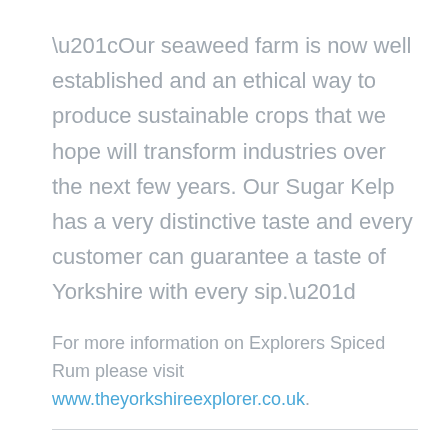“Our seaweed farm is now well established and an ethical way to produce sustainable crops that we hope will transform industries over the next few years. Our Sugar Kelp has a very distinctive taste and every customer can guarantee a taste of Yorkshire with every sip.”
For more information on Explorers Spiced Rum please visit www.theyorkshireexplorer.co.uk.